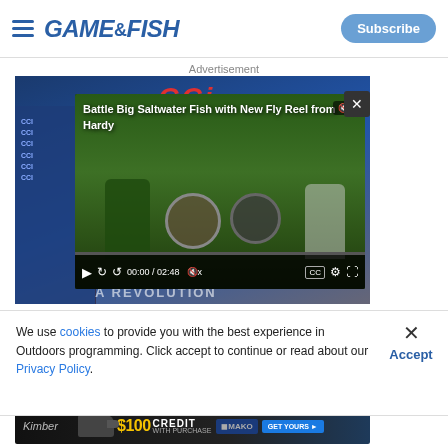Game & Fish — Subscribe
Advertisement
[Figure (screenshot): CCI ammunition advertisement with embedded video overlay showing 'Battle Big Saltwater Fish with New Fly Reel from Hardy'. Video controls show 00:00 / 02:48. A close button (x) is in the top right corner of the video player.]
We use cookies to provide you with the best experience in Outdoors programming. Click accept to continue or read about our Privacy Policy.
Advertisement
[Figure (screenshot): Kimber advertisement: $100 CREDIT WITH PURCHASE — MAKO — GET YOURS]